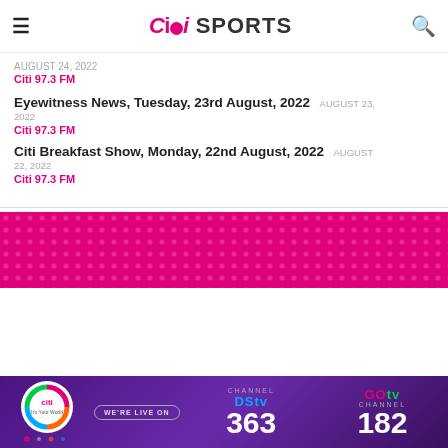Citi Sports
AUGUST 24, 2022
Citi 97.3 FM
Eyewitness News, Tuesday, 23rd August, 2022 AUGUST 23, 2022
Citi 97.3 FM
Citi Breakfast Show, Monday, 22nd August, 2022 AUGUST 22, 2022
Citi 97.3 FM
[Figure (other): Pink/magenta banner advertisement background]
[Figure (other): DStv and GOtv advertisement banner: WE'RE LIVE ON DStv Channel 363 GOtv Channel 182, with Citi logo on purple background]